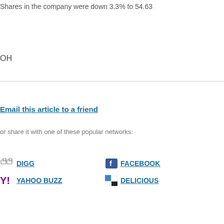Shares in the company were down 3.3% to 54.63
OH
Email this article to a friend
or share it with one of these popular networks:
DIGG
FACEBOOK
YAHOO BUZZ
DELICIOUS
Note 1: Prices and trades are provided by Dig
Note 2: RiskGrade figures are provided by Ris